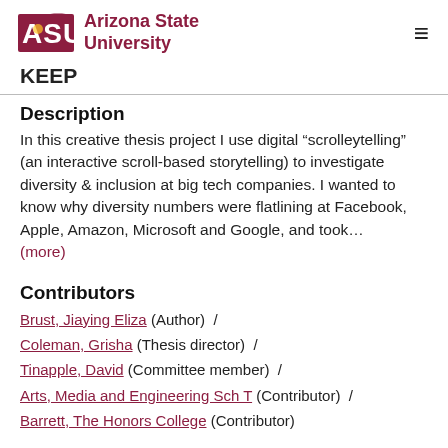ASU Arizona State University
KEEP
Description
In this creative thesis project I use digital “scrolleytelling” (an interactive scroll-based storytelling) to investigate diversity & inclusion at big tech companies. I wanted to know why diversity numbers were flatlining at Facebook, Apple, Amazon, Microsoft and Google, and took… (more)
Contributors
Brust, Jiaying Eliza (Author) /
Coleman, Grisha (Thesis director) /
Tinapple, David (Committee member) /
Arts, Media and Engineering Sch T (Contributor) /
Barrett, The Honors College (Contributor)